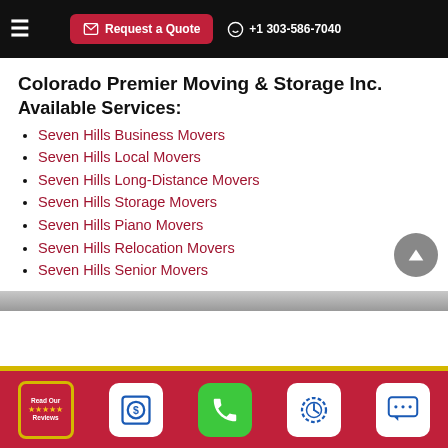Request a Quote | +1 303-586-7040
Colorado Premier Moving & Storage Inc.
Available Services:
Seven Hills Business Movers
Seven Hills Local Movers
Seven Hills Long-Distance Movers
Seven Hills Storage Movers
Seven Hills Piano Movers
Seven Hills Relocation Movers
Seven Hills Senior Movers
Read Our Reviews | Request Quote | Call | Schedule | Chat